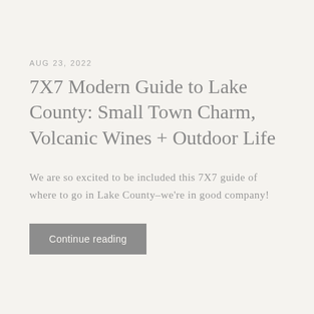AUG 23, 2022
7X7 Modern Guide to Lake County: Small Town Charm, Volcanic Wines + Outdoor Life
We are so excited to be included this 7X7 guide of where to go in Lake County–we're in good company!
Continue reading